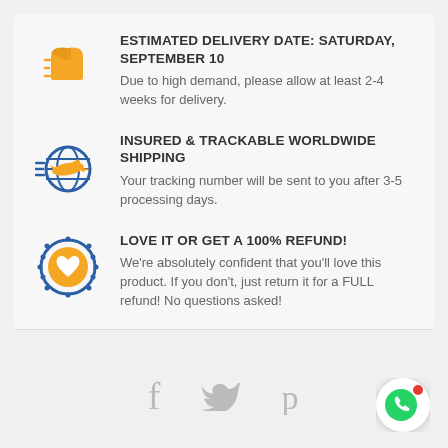ESTIMATED DELIVERY DATE: SATURDAY, SEPTEMBER 10
Due to high demand, please allow at least 2-4 weeks for delivery.
INSURED & TRACKABLE WORLDWIDE SHIPPING
Your tracking number will be sent to you after 3-5 processing days.
LOVE IT OR GET A 100% REFUND!
We're absolutely confident that you'll love this product. If you don't, just return it for a FULL refund! No questions asked.
[Figure (infographic): Bottom bar with social share icons: Facebook (f), Twitter (bird), Pinterest (p), and a WhatsApp floating button with red notification dot]